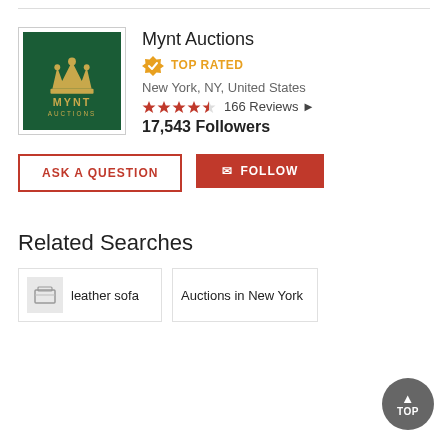[Figure (logo): Mynt Auctions logo — dark green background with a gold crown above the text MYNT AUCTIONS in gold]
Mynt Auctions
TOP RATED
New York, NY, United States
166 Reviews
17,543 Followers
ASK A QUESTION
FOLLOW
Related Searches
leather sofa
Auctions in New York